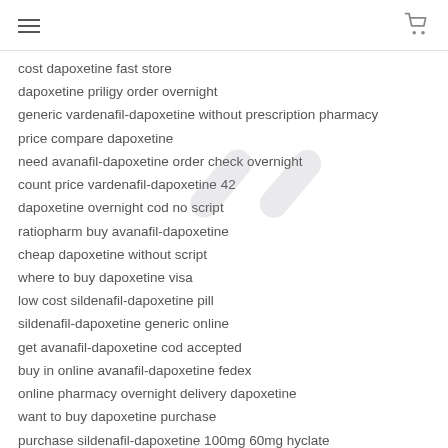[hamburger menu] [cart icon]
cost dapoxetine fast store
dapoxetine priligy order overnight
generic vardenafil-dapoxetine without prescription pharmacy
price compare dapoxetine
need avanafil-dapoxetine order check overnight
count price vardenafil-dapoxetine 42
dapoxetine overnight cod no script
ratiopharm buy avanafil-dapoxetine
cheap dapoxetine without script
where to buy dapoxetine visa
low cost sildenafil-dapoxetine pill
sildenafil-dapoxetine generic online
get avanafil-dapoxetine cod accepted
buy in online avanafil-dapoxetine fedex
online pharmacy overnight delivery dapoxetine
want to buy dapoxetine purchase
purchase sildenafil-dapoxetine 100mg 60mg hyclate
buy vardenafil-dapoxetine johannesburg 20mg
order vardenafil-dapoxetine without script uk
where can i buy dapoxetine